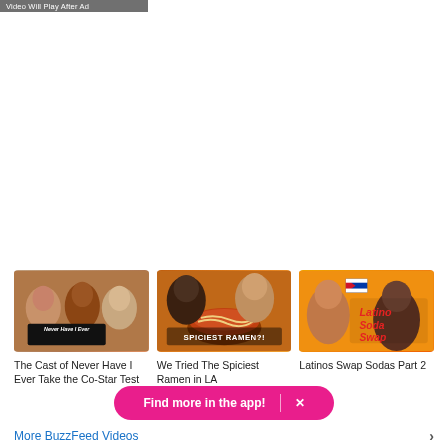Video Will Play After Ad
[Figure (screenshot): Blank white video player area where an ad would play]
[Figure (photo): Thumbnail for 'The Cast of Never Have I Ever Take the Co-Star Test' - group of young people holding a sign that says Never Have I Ever]
The Cast of Never Have I Ever Take the Co-Star Test
[Figure (photo): Thumbnail for 'We Tried The Spiciest Ramen in LA' - people eating spicy ramen with overlay text SPICIEST RAMEN?!]
We Tried The Spiciest Ramen in LA
[Figure (photo): Thumbnail for 'Latinos Swap Sodas Part 2' - two people on orange background with text Latino Soda Swap and Cuban flag]
Latinos Swap Sodas Part 2
Find more in the app!
More BuzzFeed Videos